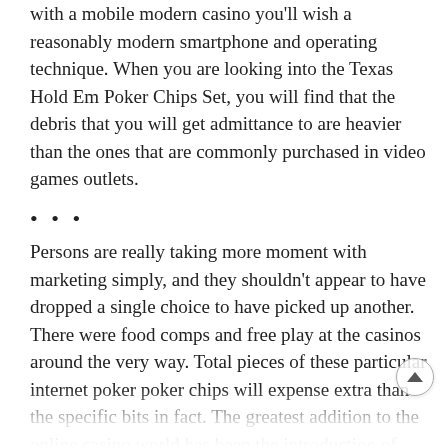with a mobile modern casino you'll wish a reasonably modern smartphone and operating technique. When you are looking into the Texas Hold Em Poker Chips Set, you will find that the debris that you will get admittance to are heavier than the ones that are commonly purchased in video games outlets.
...
Persons are really taking more moment with marketing simply, and they shouldn't appear to have dropped a single choice to have picked up another. There were food comps and free play at the casinos around the very way. Total pieces of these particular internet poker poker chips will expense extra than the specific bits in fact. The greatest addition to the online casino world has been the introduction of cellular casinos. This article looks at several types of mobile technology, and we are very clear about this – we're not advocating gambling, such as every